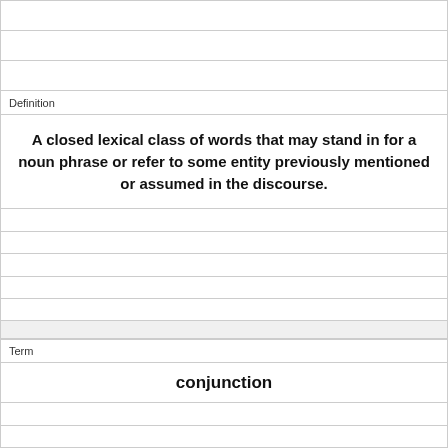Definition
A closed lexical class of words that may stand in for a noun phrase or refer to some entity previously mentioned or assumed in the discourse.
Term
conjunction